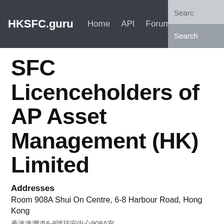HKSFC.guru  Home  API  Forum  Contact  Search
SFC Licenceholders of AP Asset Management (HK) Limited
Addresses
Room 908A Shui On Centre, 6-8 Harbour Road, Hong Kong
香港港灣道6-8號瑞安中心908A室
Email
jwat@apamhk.com
Website